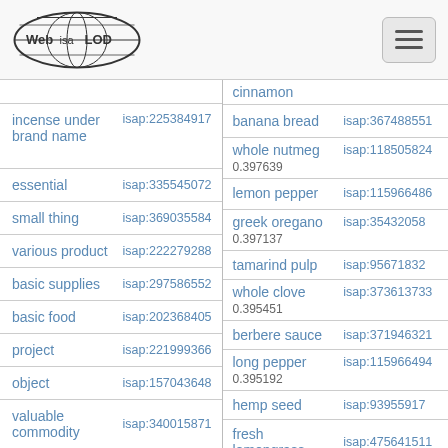Web isa LOD [logo] [hamburger menu]
| concept | isap id |
| --- | --- |
| incense under brand name | isap:225384917 |
| essential | isap:335545072 |
| small thing | isap:369035584 |
| various product | isap:222279288 |
| basic supplies | isap:297586552 |
| basic food | isap:202368405 |
| project | isap:221999366 |
| object | isap:157043648 |
| valuable commodity | isap:340015871 |
| concept | isap id |
| --- | --- |
| cinnamon |  |
| banana bread | isap:367488551 |
| whole nutmeg | isap:118505824 |
| lemon pepper | isap:115966486 |
| greek oregano | isap:35432058 |
| tamarind pulp | isap:95671832 |
| whole clove | isap:373613733 |
| berbere sauce | isap:371946321 |
| long pepper | isap:115966494 |
| hemp seed | isap:93955917 |
| fresh lemongrass | isap:475641511 |